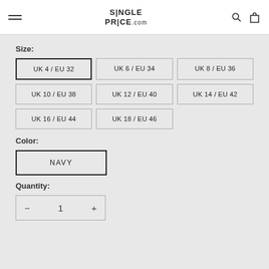SinglePrice.com
Size:
UK 4 / EU 32 (selected)
UK 6 / EU 34
UK 8 / EU 36
UK 10 / EU 38
UK 12 / EU 40
UK 14 / EU 42
UK 16 / EU 44
UK 18 / EU 46
Color:
NAVY (selected)
Quantity:
— 1 +